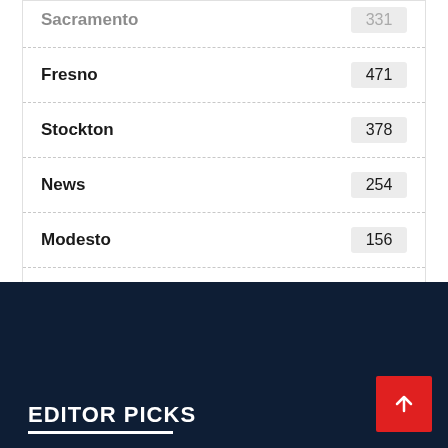Sacramento — 331
Fresno — 471
Stockton — 378
News — 254
Modesto — 156
Bakersfield — 49
video — 1
EDITOR PICKS